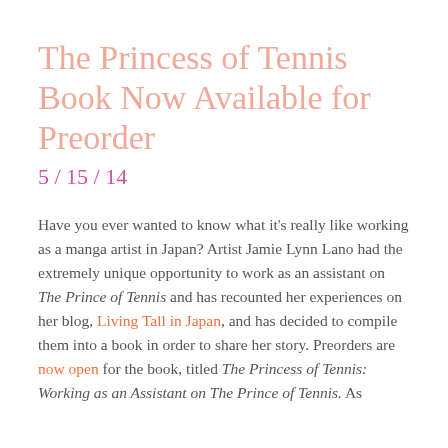The Princess of Tennis Book Now Available for Preorder
5 / 15 / 14
Have you ever wanted to know what it's really like working as a manga artist in Japan? Artist Jamie Lynn Lano had the extremely unique opportunity to work as an assistant on The Prince of Tennis and has recounted her experiences on her blog, Living Tall in Japan, and has decided to compile them into a book in order to share her story. Preorders are now open for the book, titled The Princess of Tennis: Working as an Assistant on The Prince of Tennis. As